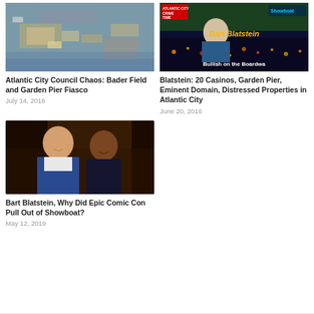[Figure (photo): Aerial view of Atlantic City area showing Bader Field and Garden Pier]
Atlantic City Council Chaos: Bader Field and Garden Pier Fiasco
July 14, 2016
[Figure (photo): Promotional image of Bart Blatstein with text 'Bullish on the Boardwa' and 'Crime Time' badge]
Blatstein: 20 Casinos, Garden Pier, Eminent Domain, Distressed Properties in Atlantic City
June 20, 2016
[Figure (photo): Photo of two men smiling, Bart Blatstein and another person]
Bart Blatstein, Why Did Epic Comic Con Pull Out of Showboat?
May 12, 2019